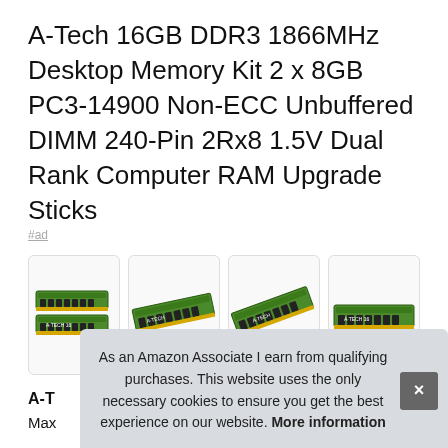A-Tech 16GB DDR3 1866MHz Desktop Memory Kit 2 x 8GB PC3-14900 Non-ECC Unbuffered DIMM 240-Pin 2Rx8 1.5V Dual Rank Computer RAM Upgrade Sticks
#ad
[Figure (photo): Four thumbnail images of green DDR3 RAM sticks (A-Tech branded) shown in a horizontal row, each in a rounded rectangle card.]
A-T
Max
As an Amazon Associate I earn from qualifying purchases. This website uses the only necessary cookies to ensure you get the best experience on our website. More information